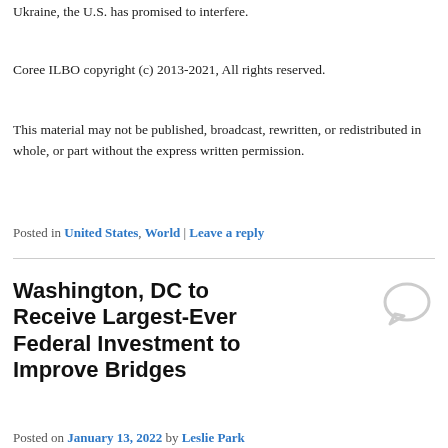Ukraine, the U.S. has promised to interfere.
Coree ILBO copyright (c) 2013-2021, All rights reserved.
This material may not be published, broadcast, rewritten, or redistributed in whole, or part without the express written permission.
Posted in United States, World | Leave a reply
Washington, DC to Receive Largest-Ever Federal Investment to Improve Bridges
Posted on January 13, 2022 by Leslie Park